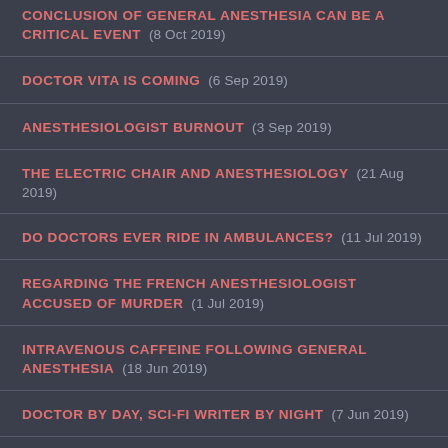CONCLUSION OF GENERAL ANESTHESIA CAN BE A CRITICAL EVENT  (8 Oct 2019)
DOCTOR VITA IS COMING  (6 Sep 2019)
ANESTHESIOLOGIST BURNOUT  (3 Sep 2019)
THE ELECTRIC CHAIR AND ANESTHESIOLOGY  (21 Aug 2019)
DO DOCTORS EVER RIDE IN AMBULANCES?  (11 Jul 2019)
REGARDING THE FRENCH ANESTHESIOLOGIST ACCUSED OF MURDER  (1 Jul 2019)
INTRAVENOUS CAFFEINE FOLLOWING GENERAL ANESTHESIA  (18 Jun 2019)
DOCTOR BY DAY, SCI-FI WRITER BY NIGHT  (7 Jun 2019)
SURGICAL CASES IN FOREIGN LANDS—INTERPLAST  (6 ...)